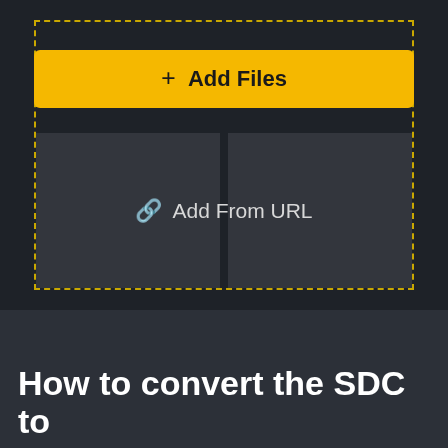[Figure (screenshot): Dark UI screenshot showing a file upload area with a dashed yellow border. Contains a yellow 'Add Files' button with a plus icon, and below it a dark panel split into two sections with a chain link icon and 'Add From URL' text.]
How to convert the SDC to